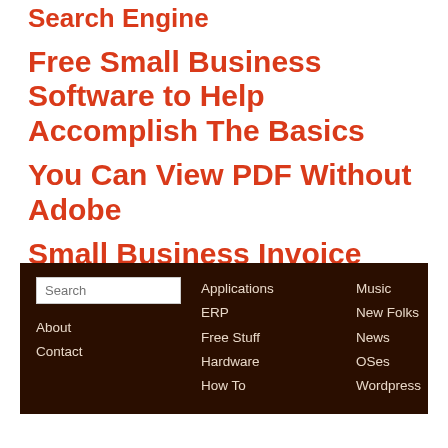Search Engine
Free Small Business Software to Help Accomplish The Basics
You Can View PDF Without Adobe
Small Business Invoice Spreadsheet
[Figure (other): Website footer navigation bar with dark brown background containing a search box, About and Contact links, and navigation categories: Applications, ERP, Free Stuff, Hardware, How To, Music, New Folks, News, OSes, Wordpress]